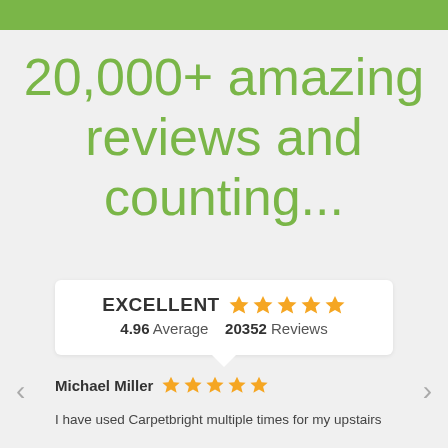20,000+ amazing reviews and counting...
EXCELLENT  4.96 Average  20352 Reviews
Michael Miller
I have used Carpetbright multiple times for my upstairs